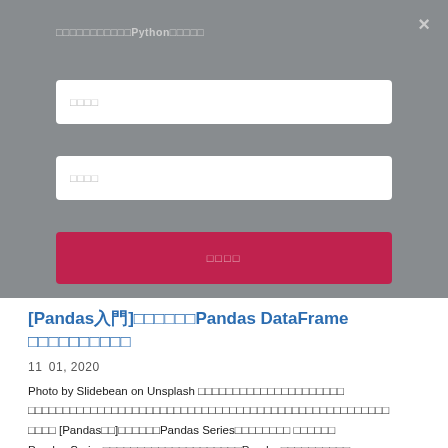[Figure (screenshot): Modal login/signup dialog overlay with gray background, close button (×), title text with Python in bold, two input fields (placeholder text), and a red submit button]
[Pandas入門]初心者向けPandas DataFrameの使い方を徹底解説
11月 01, 2020
Photo by Slidebean on Unsplash この記事では、Pandasの使い方について解説します。
こちらの記事でも解説している[Pandasの]シリーズについてはPandas Seriesの使い方です。また以前の記事でPandas Seriesの概要や基本的な使い方について解説したので、今回はPandasのDataFrameと...